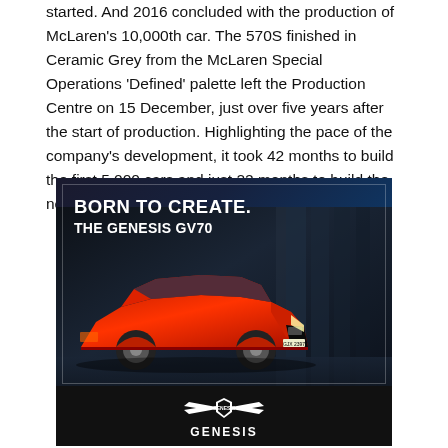started. And 2016 concluded with the production of McLaren's 10,000th car. The 570S finished in Ceramic Grey from the McLaren Special Operations 'Defined' palette left the Production Centre on 15 December, just over five years after the start of production. Highlighting the pace of the company's development, it took 42 months to build the first 5,000 cars and just 22 months to build the next 5,000.
[Figure (photo): Genesis GV70 advertisement showing a red Genesis GV70 SUV driving against a dark urban background. Text reads 'BORN TO CREATE. THE GENESIS GV70' at the top, with the Genesis winged logo and 'GENESIS' brand name at the bottom.]